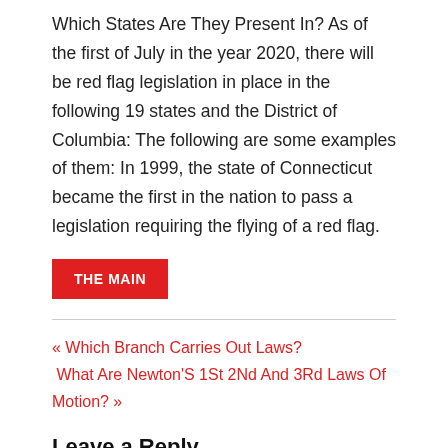Which States Are They Present In? As of the first of July in the year 2020, there will be red flag legislation in place in the following 19 states and the District of Columbia: The following are some examples of them: In 1999, the state of Connecticut became the first in the nation to pass a legislation requiring the flying of a red flag.
THE MAIN
« Which Branch Carries Out Laws?
What Are Newton'S 1St 2Nd And 3Rd Laws Of Motion? »
Leave a Reply
Your email address will not be published. Required fields are marked *